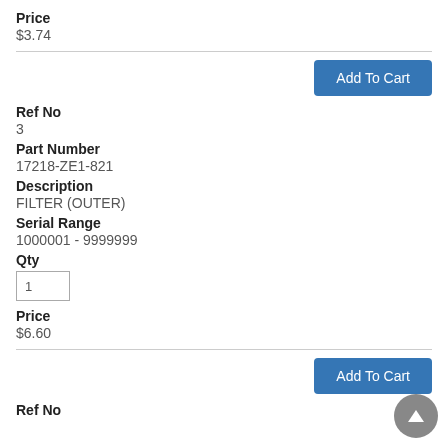Price
$3.74
Add To Cart
Ref No
3
Part Number
17218-ZE1-821
Description
FILTER (OUTER)
Serial Range
1000001 - 9999999
Qty
1
Price
$6.60
Add To Cart
Ref No